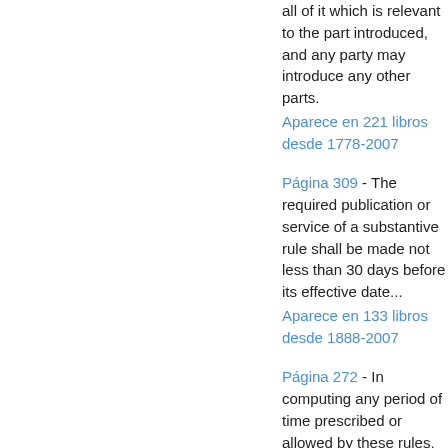all of it which is relevant to the part introduced, and any party may introduce any other parts.
Aparece en 221 libros desde 1778-2007
Página 309 - The required publication or service of a substantive rule shall be made not less than 30 days before its effective date...
Aparece en 133 libros desde 1888-2007
Página 272 - In computing any period of time prescribed or allowed by these rules, by order of court, or by any applicable statute, the day of the act, event...